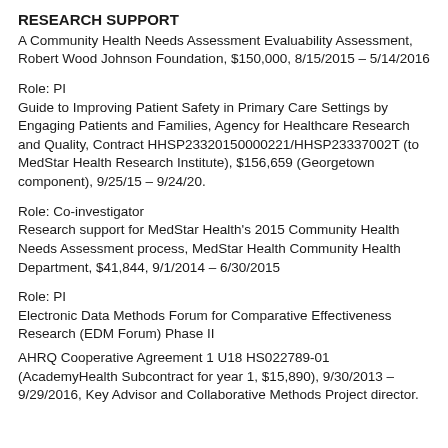RESEARCH SUPPORT
A Community Health Needs Assessment Evaluability Assessment, Robert Wood Johnson Foundation, $150,000, 8/15/2015 – 5/14/2016
Role: PI
Guide to Improving Patient Safety in Primary Care Settings by Engaging Patients and Families, Agency for Healthcare Research and Quality, Contract HHSP23320150000221/HHSP23337002T (to MedStar Health Research Institute), $156,659 (Georgetown component), 9/25/15 – 9/24/20.
Role: Co-investigator
Research support for MedStar Health's 2015 Community Health Needs Assessment process, MedStar Health Community Health Department, $41,844, 9/1/2014 – 6/30/2015
Role: PI
Electronic Data Methods Forum for Comparative Effectiveness Research (EDM Forum) Phase II
AHRQ Cooperative Agreement 1 U18 HS022789-01 (AcademyHealth Subcontract for year 1, $15,890), 9/30/2013 – 9/29/2016, Key Advisor and Collaborative Methods Project director.